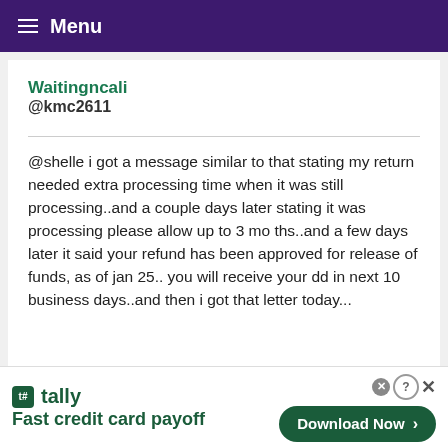Menu
Waitingncali
@kmc2611
@shelle i got a message similar to that stating my return needed extra processing time when it was still processing..and a couple days later stating it was processing please allow up to 3 mo ths..and a few days later it said your refund has been approved for release of funds, as of jan 25.. you will receive your dd in next 10 business days..and then i got that letter today...
[Figure (screenshot): Advertisement banner for Tally app - Fast credit card payoff with Download Now button]